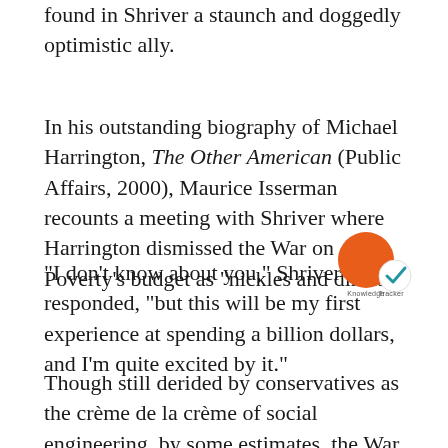found in Shriver a staunch and doggedly optimistic ally.
In his outstanding biography of Michael Harrington, The Other American (Public Affairs, 2000), Maurice Isserman recounts a meeting with Shriver where Harrington dismissed the War on Poverty's budget as "nickles and dimes."
"I don't know about you," Shriver responded, "but this will be my first experience at spending a billion dollars, and I'm quite excited by it."
[Figure (logo): Knowledge Tracker logo: orange circle with smaller circle containing a checkmark]
Though still derided by conservatives as the crème de la crème of social engineering, by some estimates, the War on Poverty helped foster a reduction in the U.S. poverty rate from 17.3 percent